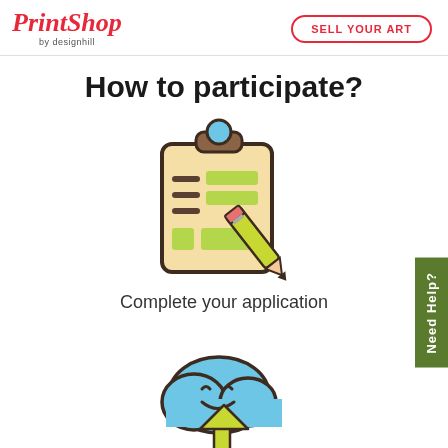PrintShop by designhill | SELL YOUR ART
How to participate?
[Figure (illustration): Clipboard with checklist items and green highlighted fields, with a yellow-green pencil overlapping it — representing completing an application form.]
Complete your application
[Figure (illustration): A smiling blue cloud with a yellow-green upward arrow — representing uploading.]
Need Help?